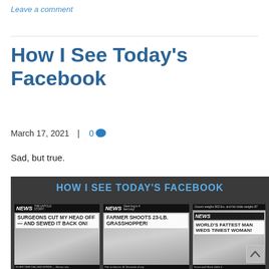Leave a comment
How I See Today’s Facebook
March 17, 2021 | 0 💬
Sad, but true.
[Figure (photo): Meme image on dark background titled 'HOW I SEE TODAY’S FACEBOOK' showing three tabloid-style newspaper front pages with sensational headlines: 'SURGEONS CUT MY HEAD OFF — AND SEWED IT BACK ON!', 'FARMER SHOOTS 23-LB. GRASSHOPPER!', and 'WORLD’S FATTEST MAN WEDS TINIEST WOMAN!']